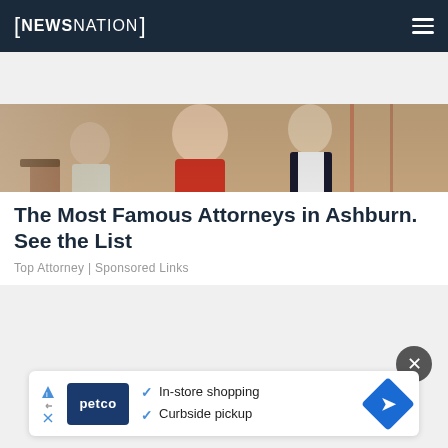NEWSNATION
[Figure (photo): People at an event, a woman in a red dress and a man in a dark suit visible in background]
The Most Famous Attorneys in Ashburn. See the List
Top Attorney | Sponsored Links
[Figure (photo): Close-up of a hand holding a Crayola crayon over a leather wallet, with an overlaid Petco advertisement banner showing In-store shopping and Curbside pickup options]